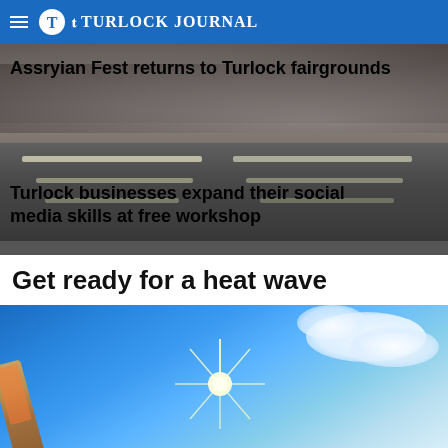Turlock Journal
[Figure (photo): Crowd of people at Assryian Fest event, indoor venue with overhead lights visible in background]
Assryian Fest returns to Turlock fairgrounds
Turlock businesses expand their social media skills at free workshop
Get ready for a heat wave
[Figure (photo): Blue sky with bright sun and clouds, thermometer in foreground suggesting heat wave]